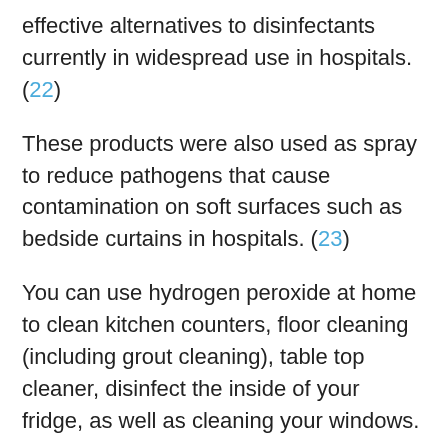effective alternatives to disinfectants currently in widespread use in hospitals. (22)
These products were also used as spray to reduce pathogens that cause contamination on soft surfaces such as bedside curtains in hospitals. (23)
You can use hydrogen peroxide at home to clean kitchen counters, floor cleaning (including grout cleaning), table top cleaner, disinfect the inside of your fridge, as well as cleaning your windows.
Just add the 3% food grade hydrogen peroxide into a spray bottle. Spray on the target surface and wipe off, just as a normal household cleaner.